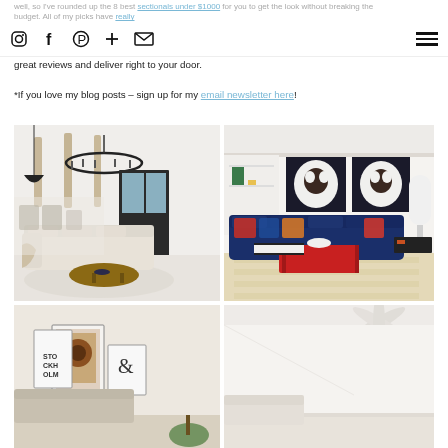Navigation icons: Instagram, Facebook, Pinterest, Plus, Email | Hamburger menu
well, so I've rounded up the 8 best sectionals under $1000 for you to get the look without breaking the budget. All of my picks have really great reviews and deliver right to your door.
*If you love my blog posts – sign up for my email newsletter here!
[Figure (photo): Top-left: White/neutral sectional sofa in a bright living room with black round chandelier, wooden ceiling beams, and a round dark wood coffee table on a patterned rug]
[Figure (photo): Top-right: Navy blue velvet sectional sofa with colorful pillows, red coffee table, black artwork on wall, white gourd lamp, on a striped jute rug]
[Figure (photo): Bottom-left: Living room with gallery wall showing Stockholm framed prints and a sectional, warm neutral tones]
[Figure (photo): Bottom-right: Bright minimalist living room corner with white walls and a ceiling fan]